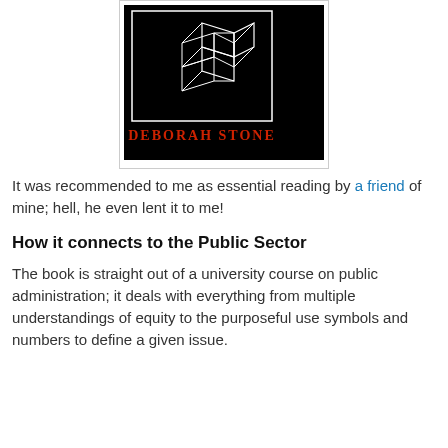[Figure (illustration): Book cover with black background showing an impossible geometric cube-like figure drawn in white lines, and the author name 'DEBORAH STONE' in red serif text at the bottom.]
It was recommended to me as essential reading by a friend of mine; hell, he even lent it to me!
How it connects to the Public Sector
The book is straight out of a university course on public administration; it deals with everything from multiple understandings of equity to the purposeful use symbols and numbers to define a given issue.